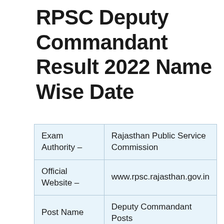RPSC Deputy Commandant Result 2022 Name Wise Date
| Exam Authority – | Rajasthan Public Service Commission |
| Official Website – | www.rpsc.rajasthan.gov.in |
| Post Name | Deputy Commandant Posts |
| Total Number of Posts | 13 Vacancies |